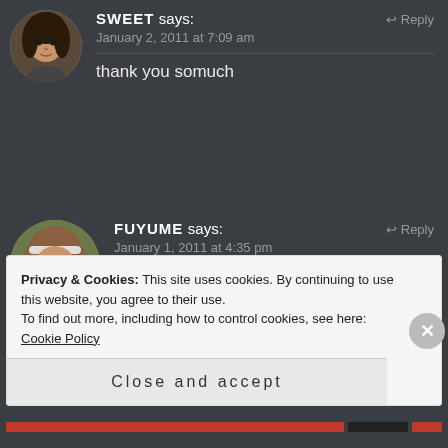[Figure (photo): Circular avatar photo of a young woman (SWEET) with dark hair, partial view]
SWEET says:
Reply
January 2, 2011 at 7:09 am
thank you somuch
[Figure (photo): Circular avatar photo of a young woman (FUYUME) with brown wavy hair and headband]
FUYUME says:
Reply
January 1, 2011 at 4:35 pm
Happy New Year and I hope you get better soon 🙂
Privacy & Cookies: This site uses cookies. By continuing to use this website, you agree to their use.
To find out more, including how to control cookies, see here: Cookie Policy
Close and accept